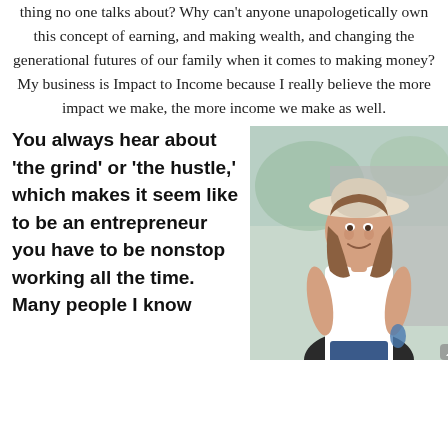thing no one talks about? Why can't anyone unapologetically own this concept of earning, and making wealth, and changing the generational futures of our family when it comes to making money? My business is Impact to Income because I really believe the more impact we make, the more income we make as well.
You always hear about 'the grind' or 'the hustle,' which makes it seem like to be an entrepreneur you have to be nonstop working all the time. Many people I know...
[Figure (photo): A smiling woman wearing a wide-brimmed hat and a white sleeveless top, photographed outdoors with a blurred background of plants and a grey wall.]